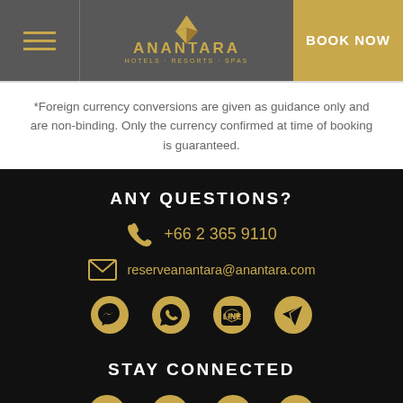ANANTARA HOTELS RESORTS SPAS | BOOK NOW
*Foreign currency conversions are given as guidance only and are non-binding. Only the currency confirmed at time of booking is guaranteed.
ANY QUESTIONS?
+66 2 365 9110
reserveanantara@anantara.com
[Figure (infographic): Row of four messaging app icons (Messenger, WhatsApp, LINE, Telegram) in gold color]
STAY CONNECTED
[Figure (infographic): Row of four social media icons (Facebook, YouTube, Instagram, Twitter) in gold color]